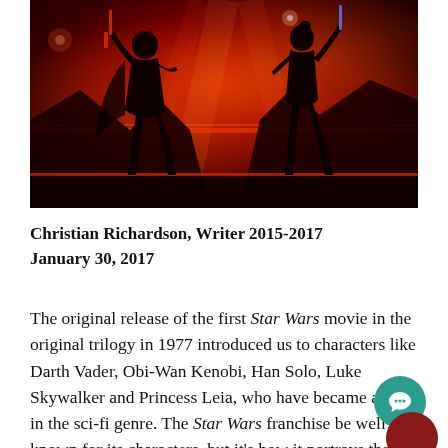[Figure (illustration): Dark sci-fi illustration showing two silhouetted figures in combat stances against a vivid red atmospheric background with mountains and glowing light beams. Star Wars themed artwork.]
Christian Richardson, Writer 2015-2017
January 30, 2017
The original release of the first Star Wars movie in the original trilogy in 1977 introduced us to characters like Darth Vader, Obi-Wan Kenobi, Han Solo, Luke Skywalker and Princess Leia, who have became a staple in the sci-fi genre. The Star Wars franchise be well known for its characters, but it's how it portrays the battle between Good and Evil along w the fine line that separates Star Wars from the rest